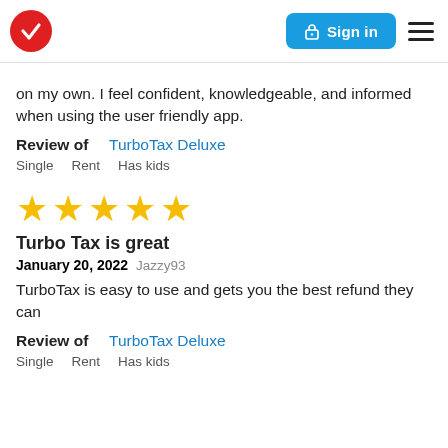[Figure (logo): TurboTax red circle checkmark logo with Sign in button and hamburger menu in header]
on my own. I feel confident, knowledgeable, and informed when using the user friendly app.
Review of   TurboTax Deluxe
Single   Rent   Has kids
[Figure (other): Five yellow stars rating]
Turbo Tax is great
January 20, 2022  Jazzy93
TurboTax is easy to use and gets you the best refund they can
Review of   TurboTax Deluxe
Single   Rent   Has kids